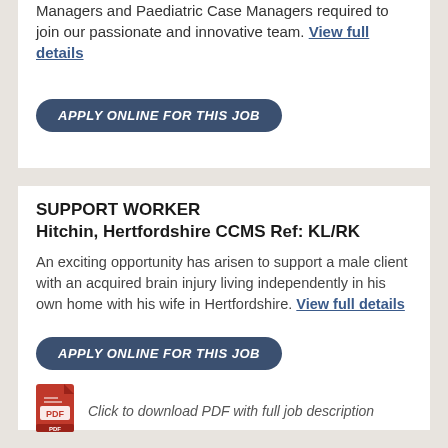Managers and Paediatric Case Managers required to join our passionate and innovative team. View full details
APPLY ONLINE FOR THIS JOB
SUPPORT WORKER
Hitchin, Hertfordshire CCMS Ref: KL/RK
An exciting opportunity has arisen to support a male client with an acquired brain injury living independently in his own home with his wife in Hertfordshire. View full details
APPLY ONLINE FOR THIS JOB
[Figure (illustration): Red PDF icon]
Click to download PDF with full job description